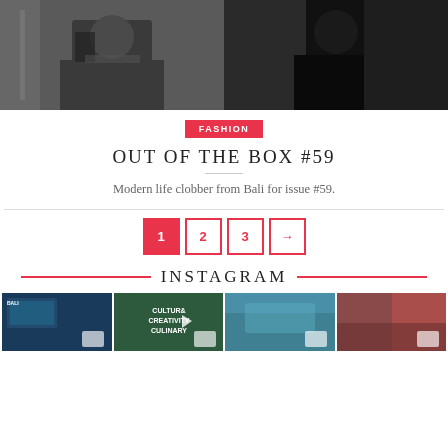[Figure (photo): Two fashion photos side by side showing people in dark clothing]
FASHION
OUT OF THE BOX #59
Modern life clobber from Bali for issue #59.
1 2 3 →
INSTAGRAM
[Figure (photo): Four Instagram thumbnail images in a row]